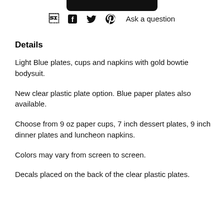[Figure (other): Dark rounded rectangle button at top of page]
f  twitter  pinterest  Ask a question
Details
Light Blue plates, cups and napkins with gold bowtie bodysuit.
New clear plastic plate option. Blue paper plates also available.
Choose from 9 oz paper cups, 7 inch dessert plates, 9 inch dinner plates and luncheon napkins.
Colors may vary from screen to screen.
Decals placed on the back of the clear plastic plates.